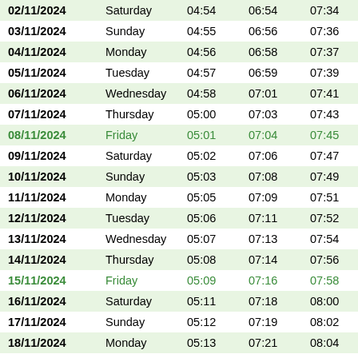| Date | Day | Col3 | Col4 | Col5 | Col6 | Col7 |
| --- | --- | --- | --- | --- | --- | --- |
| 02/11/2024 | Saturday | 04:54 | 06:54 | 07:34 | 11:49 | 1 |
| 03/11/2024 | Sunday | 04:55 | 06:56 | 07:36 | 11:49 | 1 |
| 04/11/2024 | Monday | 04:56 | 06:58 | 07:37 | 11:49 | 1 |
| 05/11/2024 | Tuesday | 04:57 | 06:59 | 07:39 | 11:49 | 1 |
| 06/11/2024 | Wednesday | 04:58 | 07:01 | 07:41 | 11:49 | 1 |
| 07/11/2024 | Thursday | 05:00 | 07:03 | 07:43 | 11:49 | 1 |
| 08/11/2024 | Friday | 05:01 | 07:04 | 07:45 | 11:49 | 1 |
| 09/11/2024 | Saturday | 05:02 | 07:06 | 07:47 | 11:49 | 1 |
| 10/11/2024 | Sunday | 05:03 | 07:08 | 07:49 | 11:49 | 1 |
| 11/11/2024 | Monday | 05:05 | 07:09 | 07:51 | 11:49 | 1 |
| 12/11/2024 | Tuesday | 05:06 | 07:11 | 07:52 | 11:49 | 1 |
| 13/11/2024 | Wednesday | 05:07 | 07:13 | 07:54 | 11:50 | 1 |
| 14/11/2024 | Thursday | 05:08 | 07:14 | 07:56 | 11:50 | 1 |
| 15/11/2024 | Friday | 05:09 | 07:16 | 07:58 | 11:50 | 1 |
| 16/11/2024 | Saturday | 05:11 | 07:18 | 08:00 | 11:50 | 1 |
| 17/11/2024 | Sunday | 05:12 | 07:19 | 08:02 | 11:50 | 1 |
| 18/11/2024 | Monday | 05:13 | 07:21 | 08:04 | 11:50 | 1 |
| 19/11/2024 | Tuesday | 05:14 | 07:23 | 08:05 | 11:51 | 1 |